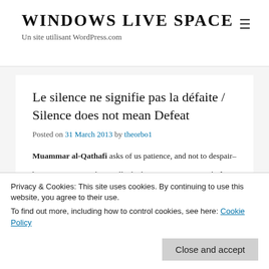WINDOWS LIVE SPACE
Un site utilisant WordPress.com
Le silence ne signifie pas la défaite / Silence does not mean Defeat
Posted on 31 March 2013 by theorbo1
Muammar al-Qathafi asks of us patience, and not to despair–

because we cannot know all which is now occuring with the Resistance and People's Liberation Armed Services
Privacy & Cookies: This site uses cookies. By continuing to use this website, you agree to their use.
To find out more, including how to control cookies, see here: Cookie Policy
Close and accept